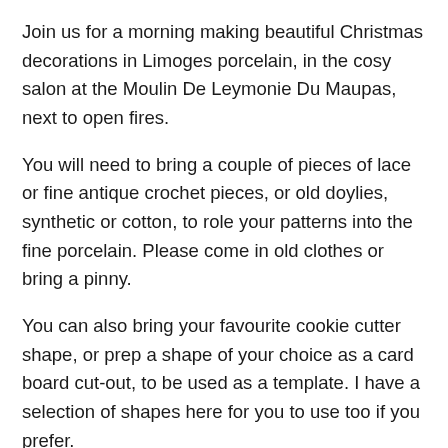Join us for a morning making beautiful Christmas decorations in Limoges porcelain, in the cosy salon at the Moulin De Leymonie Du Maupas, next to open fires.
You will need to bring a couple of pieces of lace or fine antique crochet pieces, or old doylies, synthetic or cotton, to role your patterns into the fine porcelain. Please come in old clothes or bring a pinny.
You can also bring your favourite cookie cutter shape, or prep a shape of your choice as a card board cut-out, to be used as a template. I have a selection of shapes here for you to use too if you prefer.
Enjoy homemade Xmas cookies from the Alsace for a well earned break with a steaming cup of coffee in front of the fire and a glass or two of prosecco to make it feel extra special.